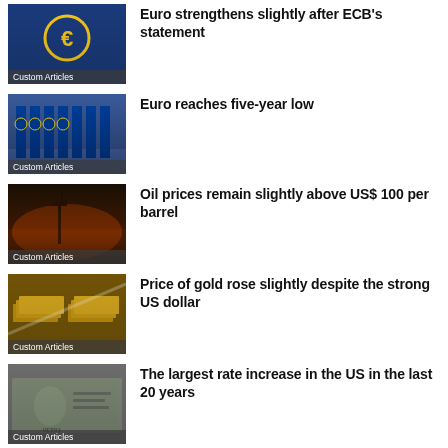[Figure (photo): ECB building with Euro sign logo, blue tones]
Custom Articles
Euro strengthens slightly after ECB's statement
[Figure (photo): EU flags waving in a row, blue sky background]
Custom Articles
Euro reaches five-year low
[Figure (photo): Oil pump jack silhouette against sunset sky]
Custom Articles
Oil prices remain slightly above US$ 100 per barrel
[Figure (photo): Gold bars stacked with light reflections]
Custom Articles
Price of gold rose slightly despite the strong US dollar
[Figure (photo): US dollar bills, hundred dollar note with Benjamin Franklin]
Custom Articles
The largest rate increase in the US in the last 20 years